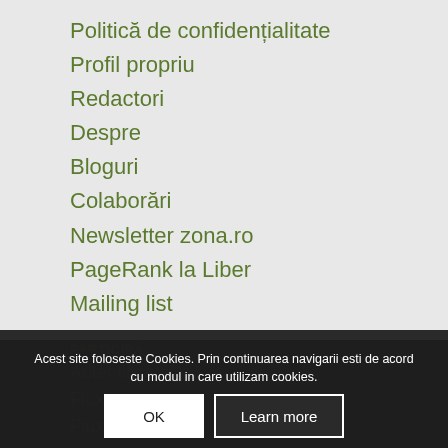Politică de confidențialitate
Profil propriu
Redactori
Despre
Bloguri
Colaborări
Newsletter zona.ro
PageRank la Liber
Mailing list
PARTICIPĂ
Autentificare
Flux intrări
Flux comentarii
Acest site foloseste Cookies. Prin continuarea navigarii esti de acord cu modul in care utilizam cookies.